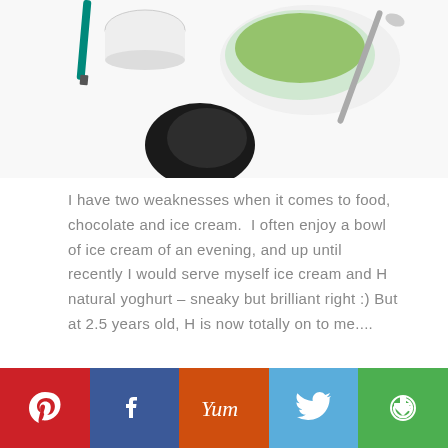[Figure (photo): Partial view of avocado ingredients on a white surface: a whole dark avocado, a green bowl with guacamole and metal spoon, and a teal/green pen, all on white background.]
I have two weaknesses when it comes to food, chocolate and ice cream.  I often enjoy a bowl of ice cream of an evening, and up until recently I would serve myself ice cream and H natural yoghurt – sneaky but brilliant right :) But at 2.5 years old, H is now totally on to me....
[Figure (infographic): Social sharing bar with five colored buttons: Pinterest (red), Facebook (dark blue), Yummly (orange), Twitter (light blue), and another share option (green).]